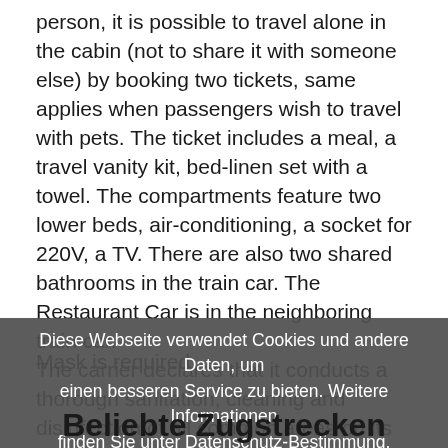person, it is possible to travel alone in the cabin (not to share it with someone else) by booking two tickets, same applies when passengers wish to travel with pets. The ticket includes a meal, a travel vanity kit, bed-linen set with a towel. The compartments feature two lower beds, air-conditioning, a socket for 220V, a TV. There are also two shared bathrooms in the train car. The Restaurant Car is in the neighboring train car.
The carrier declares that it conducts a thorough sanitation, cleaning and disinfection of all common areas on its trains, including surfaces, seats, handles, windows, tables, luggage compartments, bathrooms and operator cabins.
Mask is required
Diese Webseite verwendet Cookies und andere Daten, um einen besseren Service zu bieten. Weitere Informationen finden Sie unter Datenschutz-Bestimmung. Wenn Sie damit einverstanden sind, verwenden Sie unsere Webseite weiterhin. Ich bin einverstanden
Beliebte Zugstrecken